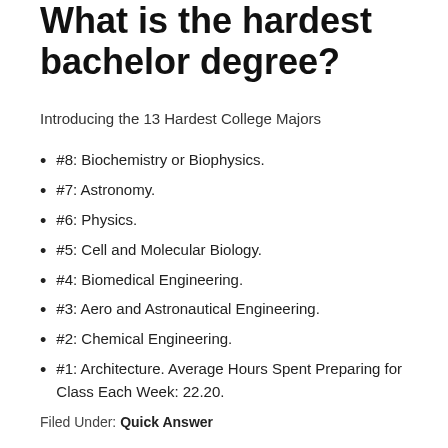What is the hardest bachelor degree?
Introducing the 13 Hardest College Majors
#8: Biochemistry or Biophysics.
#7: Astronomy.
#6: Physics.
#5: Cell and Molecular Biology.
#4: Biomedical Engineering.
#3: Aero and Astronautical Engineering.
#2: Chemical Engineering.
#1: Architecture. Average Hours Spent Preparing for Class Each Week: 22.20.
Filed Under: Quick Answer